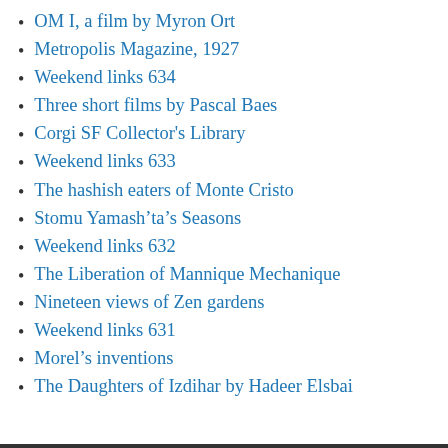OM I, a film by Myron Ort
Metropolis Magazine, 1927
Weekend links 634
Three short films by Pascal Baes
Corgi SF Collector's Library
Weekend links 633
The hashish eaters of Monte Cristo
Stomu Yamash'ta's Seasons
Weekend links 632
The Liberation of Mannique Mechanique
Nineteen views of Zen gardens
Weekend links 631
Morel's inventions
The Daughters of Izdihar by Hadeer Elsbai